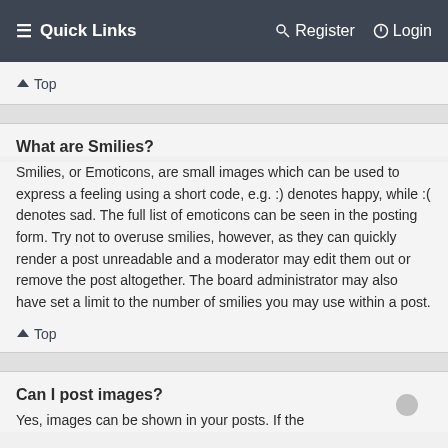≡ Quick Links    Register    Login
↑ Top
What are Smilies?
Smilies, or Emoticons, are small images which can be used to express a feeling using a short code, e.g. :) denotes happy, while :( denotes sad. The full list of emoticons can be seen in the posting form. Try not to overuse smilies, however, as they can quickly render a post unreadable and a moderator may edit them out or remove the post altogether. The board administrator may also have set a limit to the number of smilies you may use within a post.
↑ Top
Can I post images?
Yes, images can be shown in your posts. If the